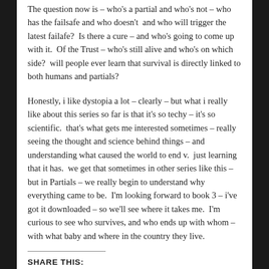The question now is – who's a partial and who's not – who has the failsafe and who doesn't  and who will trigger the latest failafe?  Is there a cure – and who's going to come up with it.  Of the Trust – who's still alive and who's on which side?  will people ever learn that survival is directly linked to both humans and partials?
Honestly, i like dystopia a lot – clearly – but what i really like about this series so far is that it's so techy – it's so scientific.  that's what gets me interested sometimes – really seeing the thought and science behind things – and understanding what caused the world to end v.  just learning that it has.  we get that sometimes in other series like this – but in Partials – we really begin to understand why everything came to be.  I'm looking forward to book 3 – i've got it downloaded – so we'll see where it takes me.  I'm curious to see who survives, and who ends up with whom – with what baby and where in the country they live.
SHARE THIS: